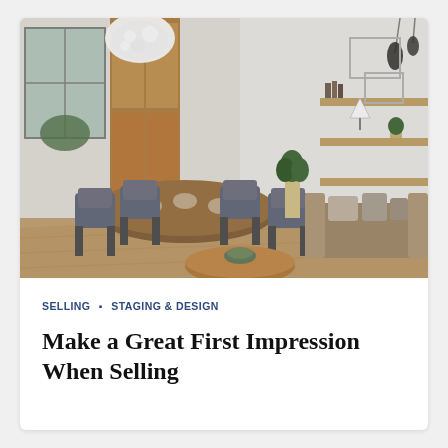[Figure (photo): Interior of a modern open-plan living and dining room with wooden floors, a round coffee table, grey sofa with cushions, dark dining chairs around a dining table, wooden cabinetry, white chandelier, pendant lights, shelving with books and decor, and windows with natural light.]
SELLING ▪ STAGING & DESIGN
Make a Great First Impression When Selling